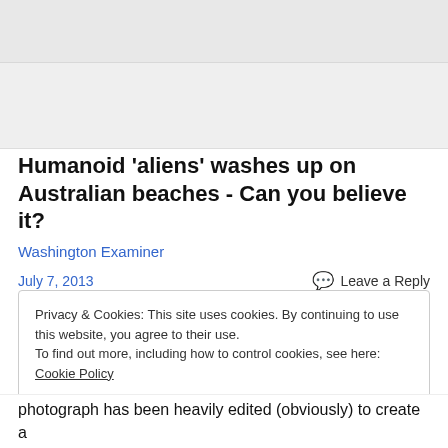Humanoid 'aliens' washes up on Australian beaches - Can you believe it?
Washington Examiner
July 7, 2013    💬 Leave a Reply
Privacy & Cookies: This site uses cookies. By continuing to use this website, you agree to their use.
To find out more, including how to control cookies, see here: Cookie Policy
Close and accept
photograph has been heavily edited (obviously) to create a